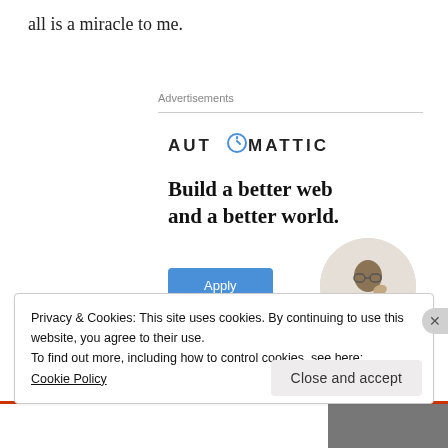all is a miracle to me.
Advertisements
[Figure (logo): Automattic logo with stylized compass O]
Build a better web and a better world.
[Figure (photo): Photo of a man in a circular crop, thinking with hand on chin]
Apply button
Privacy & Cookies: This site uses cookies. By continuing to use this website, you agree to their use.
To find out more, including how to control cookies, see here:
Cookie Policy
Close and accept